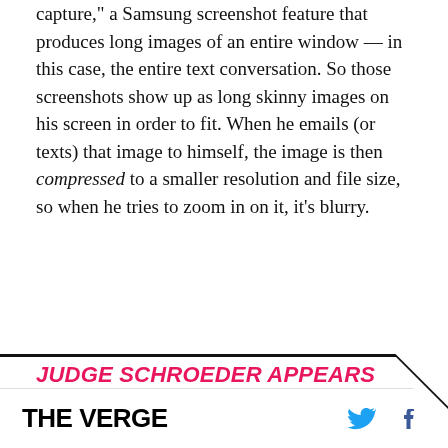capture,” a Samsung screenshot feature that produces long images of an entire window — in this case, the entire text conversation. So those screenshots show up as long skinny images on his screen in order to fit. When he emails (or texts) that image to himself, the image is then compressed to a smaller resolution and file size, so when he tries to zoom in on it, it’s blurry.
JUDGE SCHROEDER APPEARS TO BE ACTIVATING SCROLL CAPTURE ON HIS GALAXY S20
None of this is useful evidence in support of the defense’s objection about iPad pinch-to-zoom. First
THE VERGE